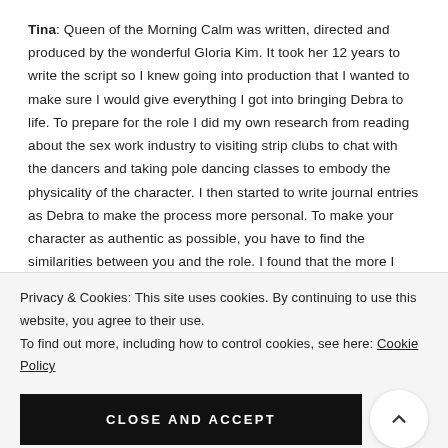Tina: Queen of the Morning Calm was written, directed and produced by the wonderful Gloria Kim. It took her 12 years to write the script so I knew going into production that I wanted to make sure I would give everything I got into bringing Debra to life. To prepare for the role I did my own research from reading about the sex work industry to visiting strip clubs to chat with the dancers and taking pole dancing classes to embody the physicality of the character. I then started to write journal entries as Debra to make the process more personal. To make your character as authentic as possible, you have to find the similarities between you and the role. I found that the more I began to peel the layers of the character
Privacy & Cookies: This site uses cookies. By continuing to use this website, you agree to their use.
To find out more, including how to control cookies, see here: Cookie Policy
CLOSE AND ACCEPT